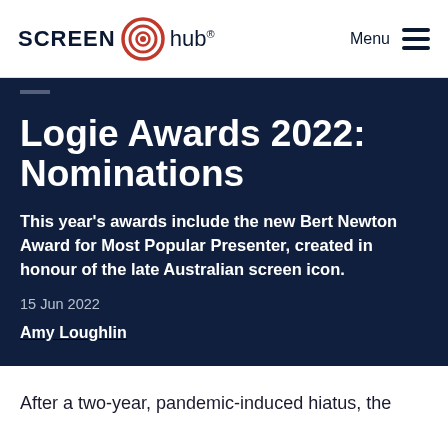Screen Hub — Menu
Logie Awards 2022: Nominations
This year's awards include the new Bert Newton Award for Most Popular Presenter, created in honour of the late Australian screen icon.
15 Jun 2022
Amy Loughlin
After a two-year, pandemic-induced hiatus, the